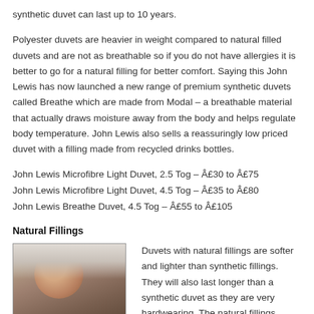synthetic duvet can last up to 10 years.
Polyester duvets are heavier in weight compared to natural filled duvets and are not as breathable so if you do not have allergies it is better to go for a natural filling for better comfort. Saying this John Lewis has now launched a new range of premium synthetic duvets called Breathe which are made from Modal – a breathable material that actually draws moisture away from the body and helps regulate body temperature. John Lewis also sells a reassuringly low priced duvet with a filling made from recycled drinks bottles.
John Lewis Microfibre Light Duvet, 2.5 Tog – £30 to £75
John Lewis Microfibre Light Duvet, 4.5 Tog – £35 to £80
John Lewis Breathe Duvet, 4.5 Tog – £55 to £105
Natural Fillings
[Figure (photo): Person lying in bed with white duvet, close-up of face]
Duvets with natural fillings are softer and lighter than synthetic fillings. They will also last longer than a synthetic duvet as they are very hardwearing. The natural fillings